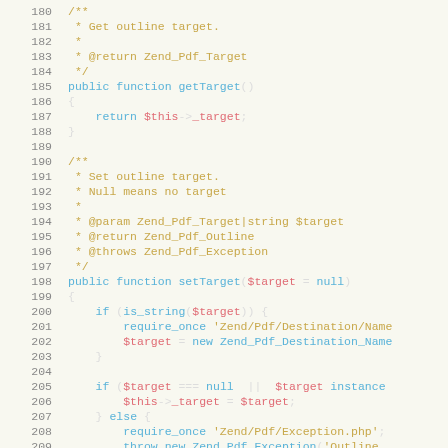[Figure (screenshot): PHP source code viewer showing lines 180-209 of a Zend PDF library class, with syntax highlighting. Comments in orange, keywords in blue, variables in red/salmon, strings in orange.]